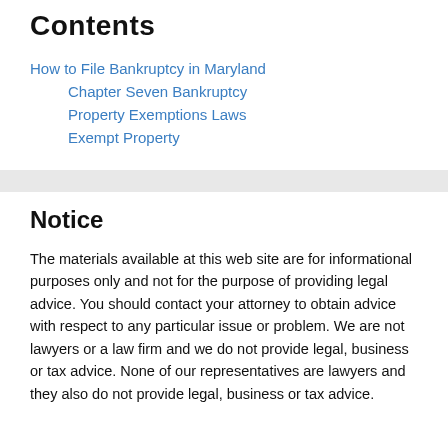Contents
How to File Bankruptcy in Maryland
Chapter Seven Bankruptcy
Property Exemptions Laws
Exempt Property
Notice
The materials available at this web site are for informational purposes only and not for the purpose of providing legal advice. You should contact your attorney to obtain advice with respect to any particular issue or problem. We are not lawyers or a law firm and we do not provide legal, business or tax advice. None of our representatives are lawyers and they also do not provide legal, business or tax advice.